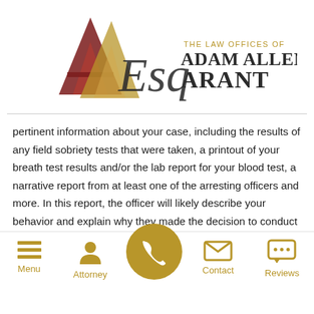[Figure (logo): The Law Offices of Adam Allen Arant logo with stylized A and Esq script]
pertinent information about your case, including the results of any field sobriety tests that were taken, a printout of your breath test results and/or the lab report for your blood test, a narrative report from at least one of the arresting officers and more. In this report, the officer will likely describe your behavior and explain why they made the decision to conduct
[Figure (infographic): Bottom navigation bar with Menu, Attorney, Phone (call button), Contact, and Reviews icons in gold/tan color]